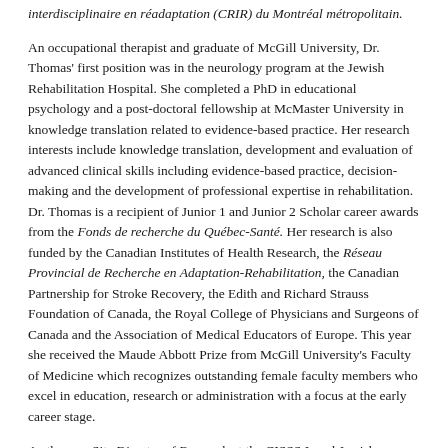interdisciplinaire en réadaptation (CRIR) du Montréal métropolitain.
An occupational therapist and graduate of McGill University, Dr. Thomas' first position was in the neurology program at the Jewish Rehabilitation Hospital. She completed a PhD in educational psychology and a post-doctoral fellowship at McMaster University in knowledge translation related to evidence-based practice. Her research interests include knowledge translation, development and evaluation of advanced clinical skills including evidence-based practice, decision-making and the development of professional expertise in rehabilitation. Dr. Thomas is a recipient of Junior 1 and Junior 2 Scholar career awards from the Fonds de recherche du Québec-Santé. Her research is also funded by the Canadian Institutes of Health Research, the Réseau Provincial de Recherche en Adaptation-Rehabilitation, the Canadian Partnership for Stroke Recovery, the Edith and Richard Strauss Foundation of Canada, the Royal College of Physicians and Surgeons of Canada and the Association of Medical Educators of Europe. This year she received the Maude Abbott Prize from McGill University's Faculty of Medicine which recognizes outstanding female faculty members who excel in education, research or administration with a focus at the early career stage.
As the new Site Director of Research at the CISSS Laval Jewish Rehabilitation Hospital Research Centre, Dr. Thomas hopes to deepen